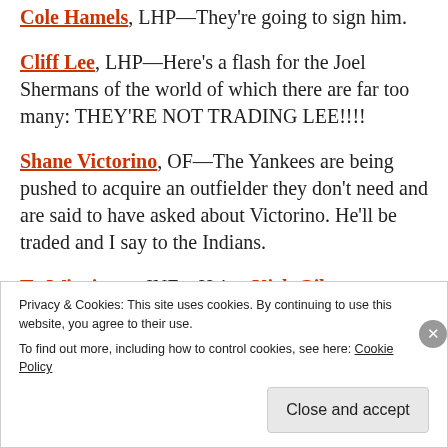Cole Hamels, LHP—They're going to sign him.
Cliff Lee, LHP—Here's a flash for the Joel Shermans of the world of which there are far too many: THEY'RE NOT TRADING LEE!!!!
Shane Victorino, OF—The Yankees are being pushed to acquire an outfielder they don't need and are said to have asked about Victorino. He'll be traded and I say to the Indians.
Ty Wigginton, INF—He's a Kirk Gibson-type player who'd help the Diamondbacks as a corner infielder
Privacy & Cookies: This site uses cookies. By continuing to use this website, you agree to their use. To find out more, including how to control cookies, see here: Cookie Policy